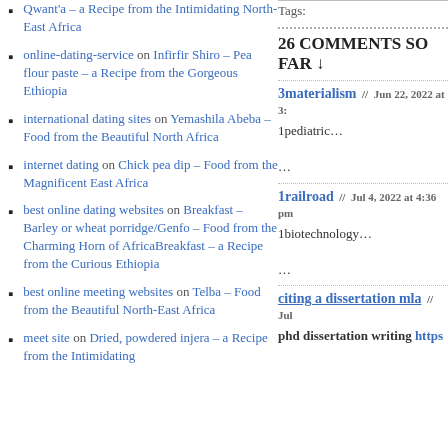Qwant'a – a Recipe from the Intimidating North-East Africa
online-dating-service on Infirfir Shiro – Pea flour paste – a Recipe from the Gorgeous Ethiopia
international dating sites on Yemashila Abeba – Food from the Beautiful North Africa
internet dating on Chick pea dip – Food from the Magnificent East Africa
best online dating websites on Breakfast – Barley or wheat porridge/Genfo – Food from the Charming Horn of AfricaBreakfast – a Recipe from the Curious Ethiopia
best online meeting websites on Telba – Food from the Beautiful North-East Africa
meet site on Dried, powdered injera – a Recipe from the Intimidating
Tags:
26 COMMENTS SO FAR ↓
3materialism // Jun 22, 2022 at 3:
1pediatric…
…
1railroad // Jul 4, 2022 at 4:36 pm
1biotechnology…
…
citing a dissertation mla // Jul
phd dissertation writing https